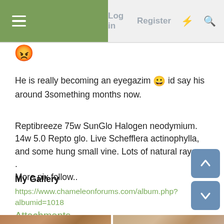Log in  Register
He is really becoming an eyegazim 😀 id say his around 3something months now.

Reptibreeze 75w SunGlo Halogen neodymium. 14w 5.0 Repto glo. Live Schefflera actinophylla, and some hung small vine. Lots of natural rays
.
More pix follow..
My Gallery
https://www.chameleonforums.com/album.php?albumid=1018
Attachments
[Figure (photo): Two thumbnail photos showing what appears to be a chameleon or reptile near a brick wall]
[Figure (other): Scroll up and scroll down navigation buttons]